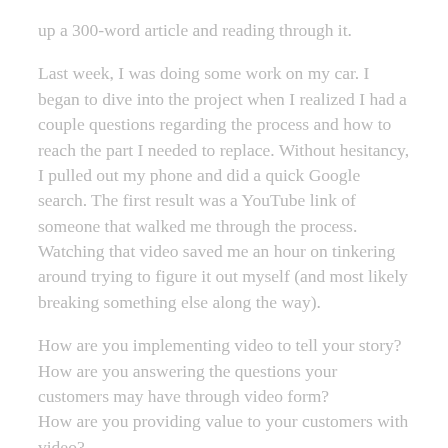up a 300-word article and reading through it.
Last week, I was doing some work on my car. I began to dive into the project when I realized I had a couple questions regarding the process and how to reach the part I needed to replace. Without hesitancy, I pulled out my phone and did a quick Google search. The first result was a YouTube link of someone that walked me through the process. Watching that video saved me an hour on tinkering around trying to figure it out myself (and most likely breaking something else along the way).
How are you implementing video to tell your story?
How are you answering the questions your customers may have through video form?
How are you providing value to your customers with video?
These are important questions to think through because